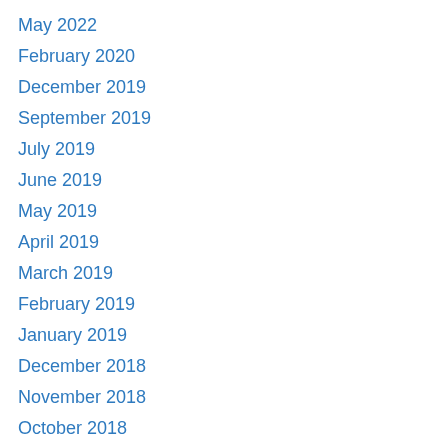May 2022
February 2020
December 2019
September 2019
July 2019
June 2019
May 2019
April 2019
March 2019
February 2019
January 2019
December 2018
November 2018
October 2018
September 2018
August 2018
July 2018
June 2018
May 2018
April 2018